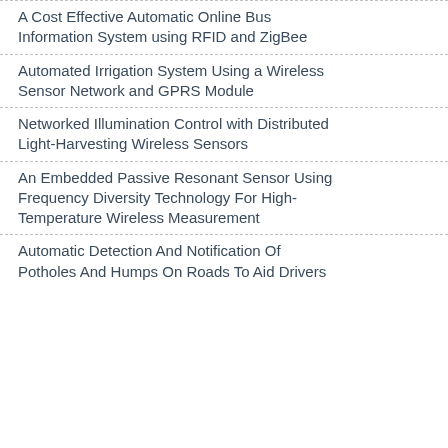A Cost Effective Automatic Online Bus Information System using RFID and ZigBee
Automated Irrigation System Using a Wireless Sensor Network and GPRS Module
Networked Illumination Control with Distributed Light-Harvesting Wireless Sensors
An Embedded Passive Resonant Sensor Using Frequency Diversity Technology For High-Temperature Wireless Measurement
Automatic Detection And Notification Of Potholes And Humps On Roads To Aid Drivers